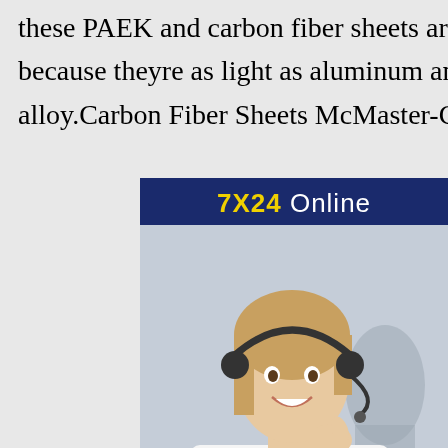these PAEK and carbon fiber sheets are a substitute for metal because theyre as light as aluminum and as strong nickel alloy.Carbon Fiber Sheets McMaster-Carr
[Figure (illustration): Advertisement widget with dark blue background, showing '7X24 Online' header in yellow/white text, a photo of a smiling woman wearing a headset, and a 'Get Latest Price' yellow button with 'Hello,may I help you?' text.]
custom sheet carbon fiber steels
carbon fiber vs steel carbon fiber for sale blue carbon fiber sheets carbon fiber fabrication carbon fib stainless steel carbon fiber sheets for cars carbon fiber sheet stock carbon fiber custom parts custom sheet carbon fiber steelscarbon fiber vs steel carbon fiber sheets for sale blue carbon fiber sheets custom carbon fiber fabrication carbon